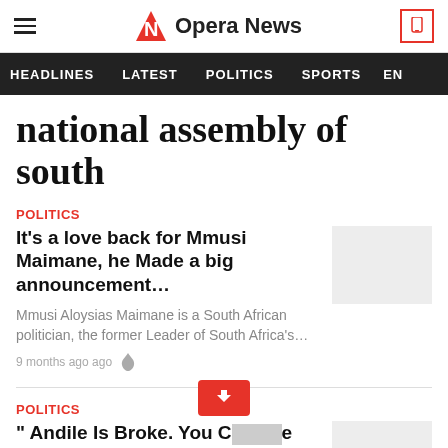Opera News
HEADLINES   LATEST   POLITICS   SPORTS   EN
national assembly of south
POLITICS
It's a love back for Mmusi Maimane, he Made a big announcement…
Mmusi Aloysias Maimane is a South African politician, the former Leader of South Africa's…
9 months ago ago
POLITICS
" Andile Is Broke. You C... S...e From T..."